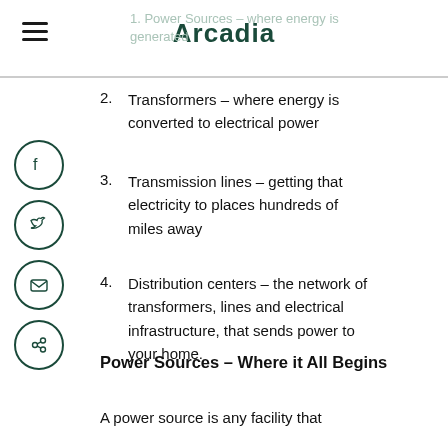Arcadia
1. Power Sources – where energy is generated
2. Transformers – where energy is converted to electrical power
3. Transmission lines – getting that electricity to places hundreds of miles away
4. Distribution centers – the network of transformers, lines and electrical infrastructure, that sends power to your home.
Power Sources – Where it All Begins
A power source is any facility that